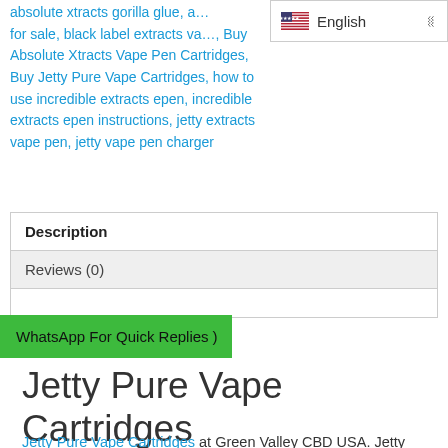absolute xtracts gorilla glue, a... for sale, black label extracts va... Buy Absolute Xtracts Vape Pen Cartridges, Buy Jetty Pure Vape Cartridges, how to use incredible extracts epen, incredible extracts epen instructions, jetty extracts vape pen, jetty vape pen charger
[Figure (screenshot): English language selector dropdown with US flag]
| Tab |
| --- |
| Description |
| Reviews (0) |
WhatsApp For Quick Replies
Jetty Pure Vape Cartridges
Jetty Pure Vape Cartridges at Green Valley CBD USA. Jetty Pure – Vape Cartridges